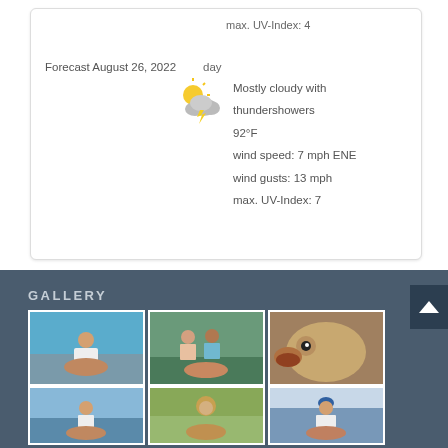max. UV-Index: 4
Forecast August 26, 2022
day
[Figure (illustration): Weather icon showing partly cloudy with thunderstorm/lightning]
Mostly cloudy with thundershowers
92°F
wind speed: 7 mph ENE
wind gusts: 13 mph
max. UV-Index: 7
GALLERY
[Figure (photo): Person holding a large redfish/red drum on a boat, blue sky background]
[Figure (photo): Two people holding a large redfish/red drum by a river]
[Figure (photo): Close-up of a large redfish face/mouth]
[Figure (photo): Person on boat holding a large redfish]
[Figure (photo): Person in hat holding a large fish with green vegetation background]
[Figure (photo): Person in blue hat holding a large redfish, cloudy sky]